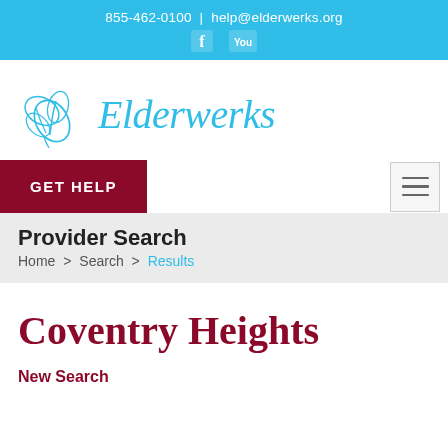855-462-0100 | help@elderwerks.org
[Figure (logo): Elderwerks logo with decorative butterfly/floral illustration in blue and the italic text 'Elderwerks' in blue]
GET HELP
Provider Search
Home > Search > Results
Coventry Heights
New Search